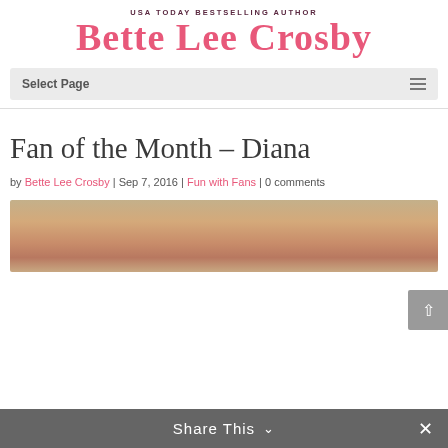USA TODAY BESTSELLING AUTHOR
BETTE LEE CROSBY
Select Page
Fan of the Month – Diana
by Bette Lee Crosby | Sep 7, 2016 | Fun with Fans | 0 comments
[Figure (photo): Photo of Diana, Fan of the Month, a woman with light hair photographed from above]
Share This